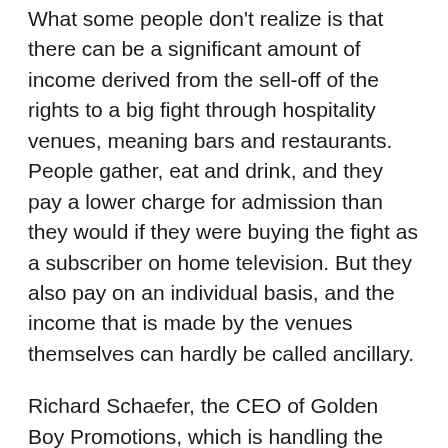What some people don't realize is that there can be a significant amount of income derived from the sell-off of the rights to a big fight through hospitality venues, meaning bars and restaurants. People gather, eat and drink, and they pay a lower charge for admission than they would if they were buying the fight as a subscriber on home television. But they also pay on an individual basis, and the income that is made by the venues themselves can hardly be called ancillary.
Richard Schaefer, the CEO of Golden Boy Promotions, which is handling the nuts and bolts of the promotion itself by virtue of its agreement with Mayweather Promotions, and also holds the rights to Alvarez, has told internet reporters that this is “the single biggest guarantee for a closed circuit deal, ever,” and by “guarantee” what he means is that the money that is paid by the hospitality sites for the